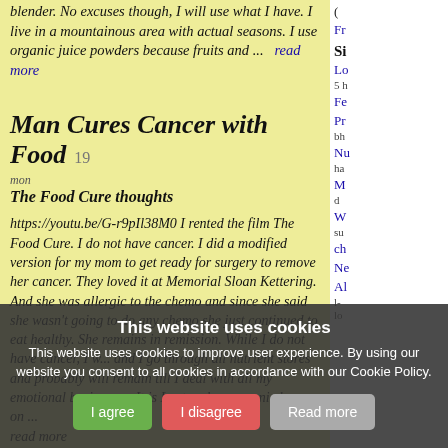blender. No excuses though, I will use what I have. I live in a mountainous area with actual seasons. I use organic juice powders because fruits and ...  read more
Man Cures Cancer with Food  19 mon
The Food Cure thoughts
https://youtu.be/G-r9pIl38M0 I rented the film The Food Cure. I do not have cancer. I did a modified version for my mom to get ready for surgery to remove her cancer. They loved it at Memorial Sloan Kettering. And she was allergic to the chemo and since she said she wasn't going to do any chemo she just continued to eat healthy. She remains in remission. While I do not have cancer, I w... and I go through all nutrient stores and probably will remain till I deal with all my emotional businesses. It is Lent and so, organic beer on ... read more
( Fr Si Lo 5 h Fe Pr bh Nu ha M d W su ch N Al l- lo
This website uses cookies
This website uses cookies to improve user experience. By using our website you consent to all cookies in accordance with our Cookie Policy.
I agree  I disagree  Read more